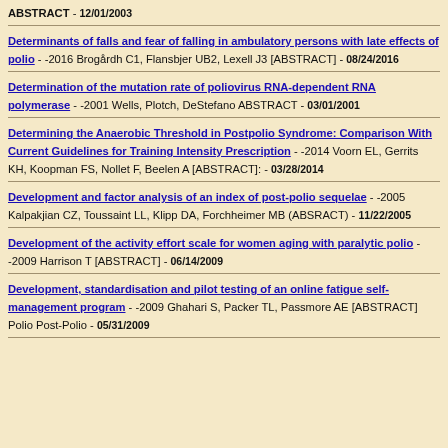ABSTRACT - 12/01/2003
Determinants of falls and fear of falling in ambulatory persons with late effects of polio - -2016 Brogårdh C1, Flansbjer UB2, Lexell J3 [ABSTRACT] - 08/24/2016
Determination of the mutation rate of poliovirus RNA-dependent RNA polymerase - -2001 Wells, Plotch, DeStefano ABSTRACT - 03/01/2001
Determining the Anaerobic Threshold in Postpolio Syndrome: Comparison With Current Guidelines for Training Intensity Prescription - -2014 Voorn EL, Gerrits KH, Koopman FS, Nollet F, Beelen A [ABSTRACT]: - 03/28/2014
Development and factor analysis of an index of post-polio sequelae - -2005 Kalpakjian CZ, Toussaint LL, Klipp DA, Forchheimer MB (ABSRACT) - 11/22/2005
Development of the activity effort scale for women aging with paralytic polio - -2009 Harrison T [ABSTRACT] - 06/14/2009
Development, standardisation and pilot testing of an online fatigue self-management program - -2009 Ghahari S, Packer TL, Passmore AE [ABSTRACT] Polio Post-Polio - 05/31/2009